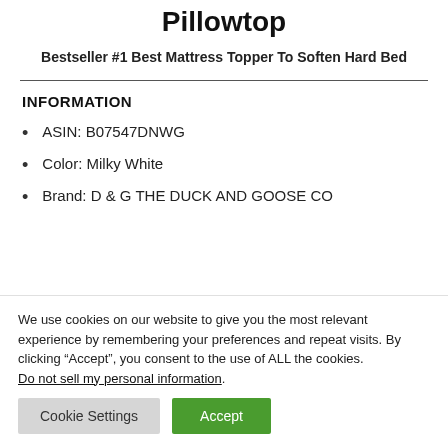Pillowtop
Bestseller #1 Best Mattress Topper To Soften Hard Bed
INFORMATION
ASIN: B07547DNWG
Color: Milky White
Brand: D & G THE DUCK AND GOOSE CO
We use cookies on our website to give you the most relevant experience by remembering your preferences and repeat visits. By clicking “Accept”, you consent to the use of ALL the cookies. Do not sell my personal information.